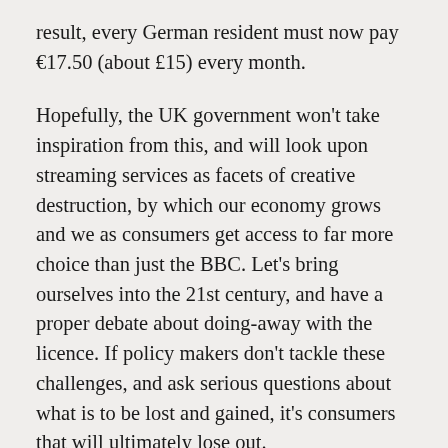result, every German resident must now pay €17.50 (about £15) every month.
Hopefully, the UK government won't take inspiration from this, and will look upon streaming services as facets of creative destruction, by which our economy grows and we as consumers get access to far more choice than just the BBC. Let's bring ourselves into the 21st century, and have a proper debate about doing-away with the licence. If policy makers don't tackle these challenges, and ask serious questions about what is to be lost and gained, it's consumers that will ultimately lose out.